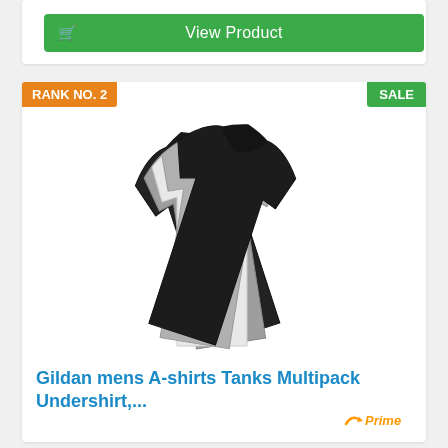[Figure (screenshot): Green 'View Product' button with shopping cart icon on the left]
RANK NO. 2
SALE
[Figure (photo): Gildan mens A-shirts Tanks Multipack Undershirt - multiple tank tops fanned out in black, grey, white, grey, and black colors]
Gildan mens A-shirts Tanks Multipack Undershirt,...
[Figure (logo): Amazon Prime logo - orange checkmark with 'Prime' text]